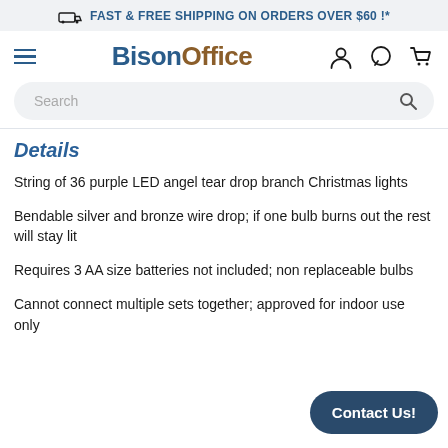FAST & FREE SHIPPING ON ORDERS OVER $60 !*
[Figure (logo): BisonOffice logo with hamburger menu and navigation icons]
Details
String of 36 purple LED angel tear drop branch Christmas lights
Bendable silver and bronze wire drop; if one bulb burns out the rest will stay lit
Requires 3 AA size batteries not included; non replaceable bulbs
Cannot connect multiple sets together; approved for indoor use only